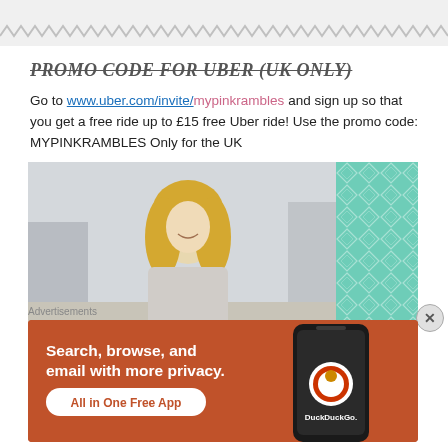[Figure (other): Zigzag/wavy decorative border at top of page]
PROMO CODE FOR UBER (UK ONLY)
Go to www.uber.com/invite/mypinkrambles and sign up so that you get a free ride up to £15 free Uber ride! Use the promo code: MYPINKRAMBLES Only for the UK
[Figure (photo): Photo of a smiling blonde woman on a city street, with a teal diamond-pattern panel on the right side]
Advertisements
[Figure (infographic): DuckDuckGo advertisement banner: orange background, 'Search, browse, and email with more privacy. All in One Free App', with a phone image and DuckDuckGo logo]